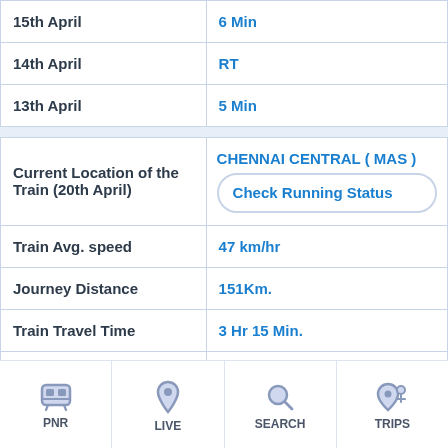|  |  |
| --- | --- |
| 15th April | 6 Min |
| 14th April | RT |
| 13th April | 5 Min |
| Current Location of the Train (20th April) | CHENNAI CENTRAL ( MAS ) | Check Running Status |
| Train Avg. speed | 47 km/hr |
| Journey Distance | 151Km. |
| Train Travel Time | 3 Hr 15 Min. |
| Type of Train | -- (--) |
| Train Running schedule | Daily (All Days) |
PNR | LIVE | SEARCH | TRIPS